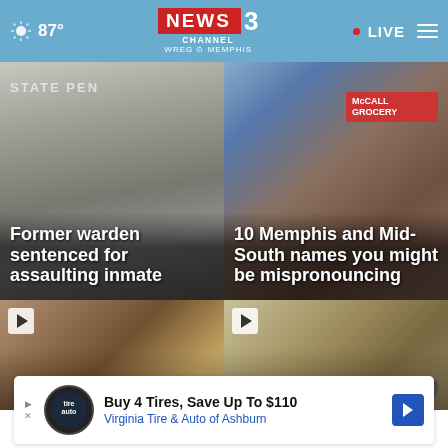87° NEWS CHANNEL 3 WREG MEMPHIS · LIVE
[Figure (screenshot): News article thumbnail: State penitentiary building with headline 'Former warden sentenced for assaulting inmate']
[Figure (screenshot): News article thumbnail: Street sign/storefront with headline '10 Memphis and Mid-South names you might be mispronouncing']
[Figure (photo): Video thumbnail with play button showing TV panel discussion]
[Figure (photo): Video thumbnail with play button and close button showing person outdoors]
Buy 4 Tires, Save Up To $110 Virginia Tire & Auto of Ashburn